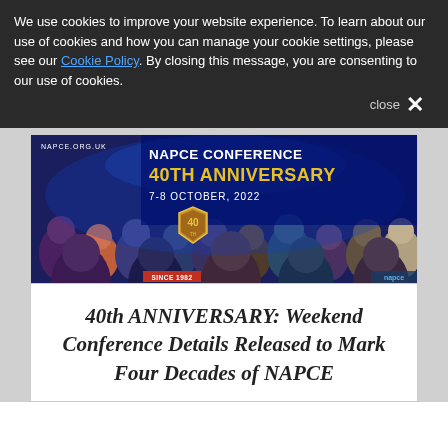We use cookies to improve your website experience. To learn about our use of cookies and how you can manage your cookie settings, please see our Cookie Policy. By closing this message, you are consenting to our use of cookies.
close ×
[Figure (photo): NAPCE Conference 40th Anniversary banner image showing audience members seated in a conference hall with blue lighting. Text overlay reads: NAPCE.ORG.UK, NAPCE CONFERENCE, 40TH ANNIVERSARY, 7-8 OCTOBER, 2022. A 40th anniversary badge shows SINCE 1982.]
40th ANNIVERSARY: Weekend Conference Details Released to Mark Four Decades of NAPCE